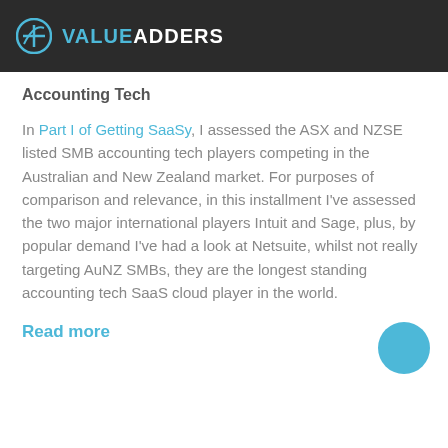VALUE ADDERS
Accounting Tech
In Part I of Getting SaaSy, I assessed the ASX and NZSE listed SMB accounting tech players competing in the Australian and New Zealand market. For purposes of comparison and relevance, in this installment I've assessed the two major international players Intuit and Sage, plus, by popular demand I've had a look at Netsuite, whilst not really targeting AuNZ SMBs, they are the longest standing accounting tech SaaS cloud player in the world.
Read more